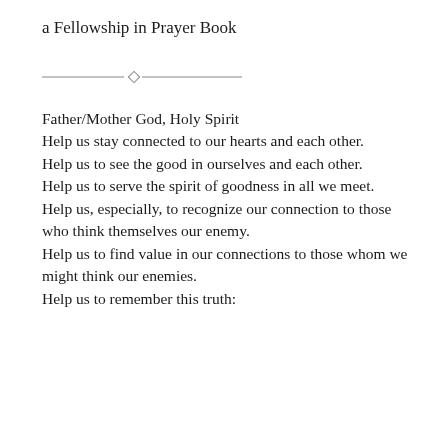a Fellowship in Prayer Book
[Figure (other): Decorative horizontal divider line with diamond shape in center]
Father/Mother God, Holy Spirit
Help us stay connected to our hearts and each other.
Help us to see the good in ourselves and each other.
Help us to serve the spirit of goodness in all we meet.
Help us, especially, to recognize our connection to those
who think themselves our enemy.
Help us to find value in our connections to those whom we might think our enemies.
Help us to remember this truth: